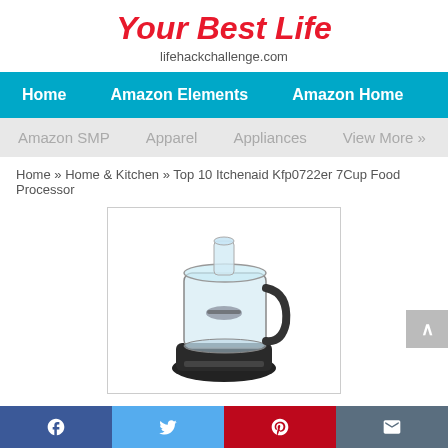Your Best Life
lifehackchallenge.com
Home | Amazon Elements | Amazon Home
Amazon SMP | Apparel | Appliances | View More »
Home » Home & Kitchen » Top 10 Itchenaid Kfp0722er 7Cup Food Processor
[Figure (photo): KitchenAid food processor, black, 7-cup capacity, with clear bowl and lid on white background]
Top 10 Itchenaid Kfp0722er